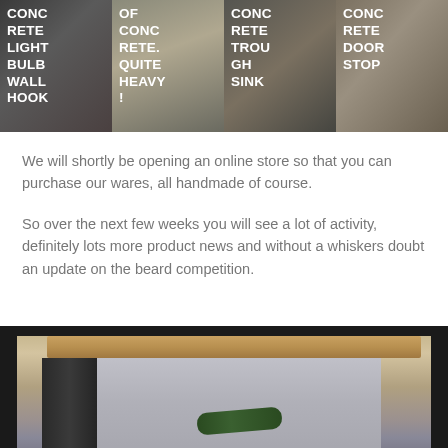[Figure (photo): Four concrete product images in a grid: Concrete Light Bulb Wall Hook, Of Concrete. Quite Heavy!, Concrete Trough Sink, Concrete Door Stop]
We will shortly be opening an online store so that you can purchase our wares, all handmade of course.
So over the next few weeks you will see a lot of activity, definitely lots more product news and without a whiskers doubt an update on the beard competition.
[Figure (photo): A concrete wine rack with wooden top holding three wine bottles]
CONC RETE LIGHT BULB WALL HOOK | OF CONC RETE. QUITE HEAVY ! | CONC RETE TROU GH SINK | CONC RETE DOOR STOP